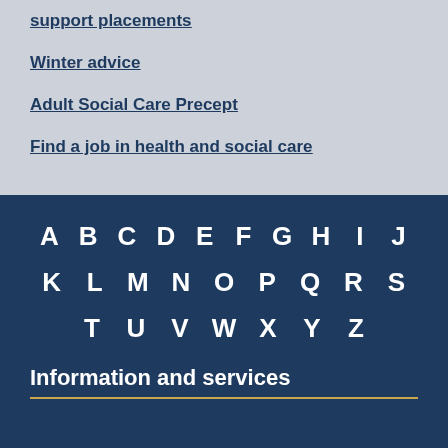support placements
Winter advice
Adult Social Care Precept
Find a job in health and social care
A B C D E F G H I J K L M N O P Q R S T U V W X Y Z
Information and services